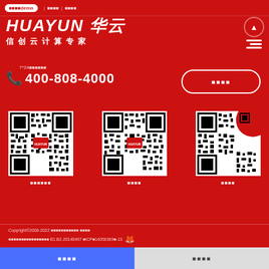■■■■demo | ■■■■ | ■■■■
HUAYUN 华云
信创云计算专家
7*24■■■■■■
400-808-4000
■■■■
[Figure (other): QR code for HUAYUN with red center logo]
■■■■■■
[Figure (other): QR code for HUAYUN with red center logo]
■■■■
[Figure (other): QR code partially obscured by red circle]
■■■■
Copyright©2008-2022 ■■■■■■■■■■■ ■■■■
■■■■■■■■■■■■■■■■ B1.B2-20140497 ■ICP■14056369■-13
■■■■ | ■■■■